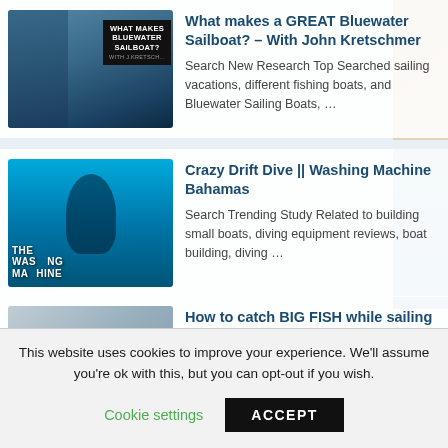What makes a GREAT Bluewater Sailboat? – With John Kretschmer
Search New Research Top Searched sailing vacations, different fishing boats, and Bluewater Sailing Boats, …
Crazy Drift Dive || Washing Machine Bahamas
Search Trending Study Related to building small boats, diving equipment reviews, boat building, diving …
How to catch BIG FISH while sailing
This website uses cookies to improve your experience. We'll assume you're ok with this, but you can opt-out if you wish.
Cookie settings  ACCEPT